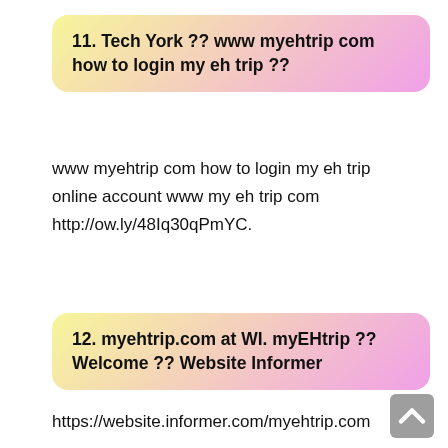11. Tech York ️?? www myehtrip com how to login my eh trip ️??
www myehtrip com how to login my eh trip online account www my eh trip com http://ow.ly/48Iq30qPmYC.
12. myehtrip.com at WI. myEHtrip ️?? Welcome ️?? Website Informer
https://website.informer.com/myehtrip.com
Keywords: myehtrip, my ehi trip, myehitrip, my